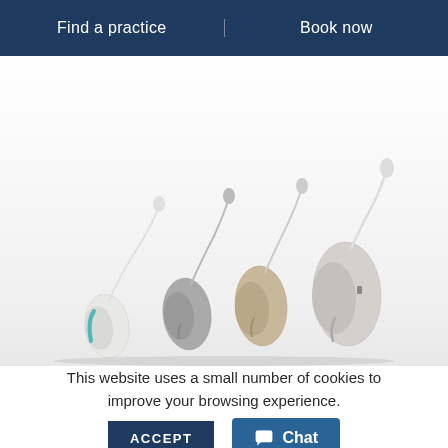Find a practice | Book now
[Figure (photo): Four hearing aids of different sizes and colors (teal/white, gray, beige/tan, and larger silver/gray) arranged in a row from smallest to largest, photographed on a white/light gray background.]
This website uses a small number of cookies to improve your browsing experience.
ACCEPT
Chat